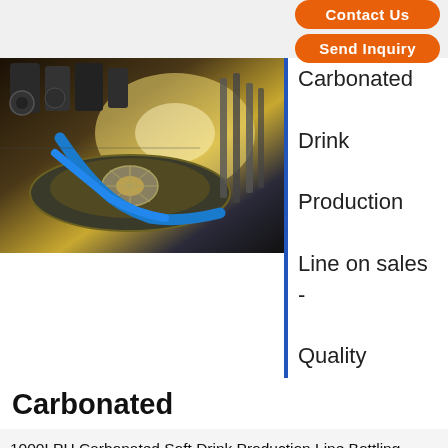Contact Us
Send Inquiry
[Figure (photo): Industrial carbonated drink bottling machine with blue hoses and rotating filling carousel]
Carbonated
Drink
Production
Line on sales -
Quality
Carbonated
1000LPH Carbonated Soft Drink Production Line Bottling Packing Like Coca Automatic Carbonated Drink Production Line , Soft Drink Filling Machine bottle neck holding transmission technology to realize fully automatic rinsing,filling .
Contact Us
Tel   E-mail   Contact   Home